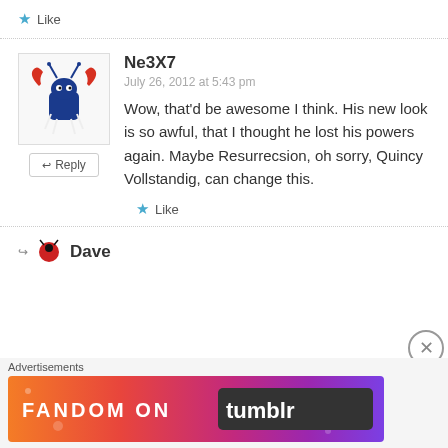Like
Ne3X7
July 26, 2012 at 5:43 pm
Wow, that'd be awesome I think. His new look is so awful, that I thought he lost his powers again. Maybe Resurrecsion, oh sorry, Quincy Vollstandig, can change this.
Like
Dave
[Figure (infographic): Fandom on Tumblr advertisement banner with colorful gradient background]
Advertisements